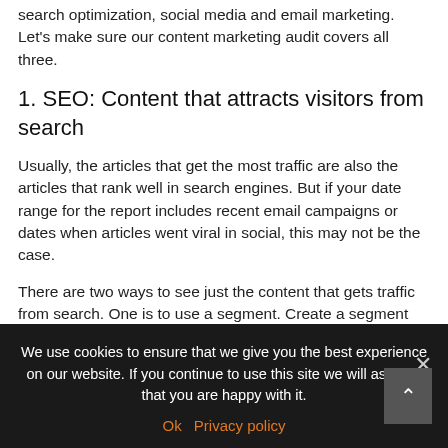There are three traffic sources in content marketing: search optimization, social media and email marketing. Let's make sure our content marketing audit covers all three.
1. SEO: Content that attracts visitors from search
Usually, the articles that get the most traffic are also the articles that rank well in search engines. But if your date range for the report includes recent email campaigns or dates when articles went viral in social, this may not be the case.
There are two ways to see just the content that gets traffic from search. One is to use a segment. Create a segment for search traffic (where the medium is
We use cookies to ensure that we give you the best experience on our website. If you continue to use this site we will assume that you are happy with it.
Ok   Privacy policy